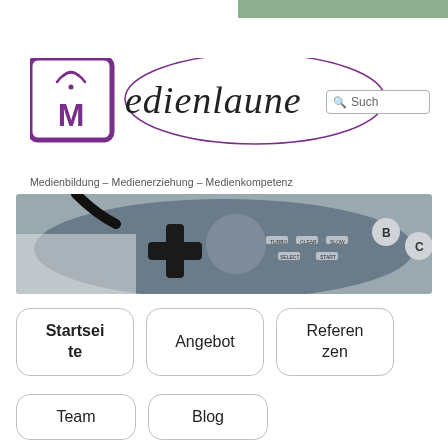[Figure (logo): Medienlaune logo with purple square and M letter, cursive text 'medienlaune']
Medienbildung – Medienerziehung – Medienkompetenz
[Figure (photo): Close-up photo of a retro SNES-style game controller with d-pad, turbo, clear, slow, select, start buttons]
Startseite
Angebot
Referenzen
Team
Blog